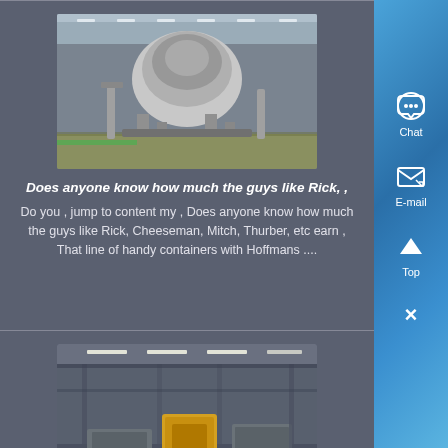[Figure (photo): Industrial machinery, large crusher or mill equipment in a factory setting]
Does anyone know how much the guys like Rick, ,
Do you , jump to content my , Does anyone know how much the guys like Rick, Cheeseman, Mitch, Thurber, etc earn , That line of handy containers with Hoffmans ....
[Figure (photo): Industrial warehouse or factory interior with heavy equipment and yellow machinery]
Todd Hoffman Gold Rush Discovery
Watch video 0183 32 Todd Hoffman DCL Todd , However, after finding nuggets of gold on the surface and running a successful 100-yard test which paid out at ,....